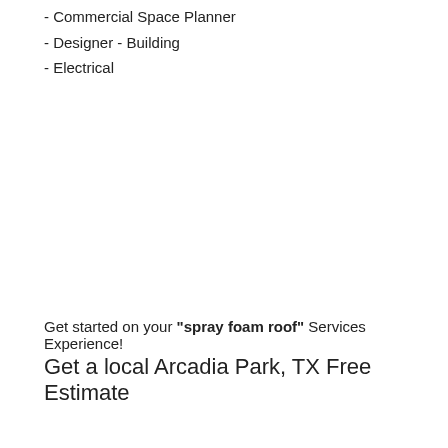- Commercial Space Planner
- Designer - Building
- Electrical
Get started on your "spray foam roof" Services Experience! Get a local Arcadia Park, TX Free Estimate